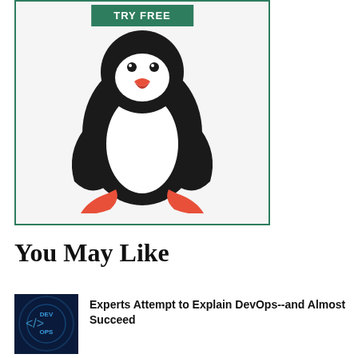[Figure (illustration): Advertisement box with green 'TRY FREE' button at the top and a Linux Tux penguin mascot illustration below it, set against a light gray background with a green border.]
You May Like
[Figure (photo): Thumbnail image for DevOps article showing a dark blue tech background with code brackets and the words DEV OPS.]
Experts Attempt to Explain DevOps--and Almost Succeed